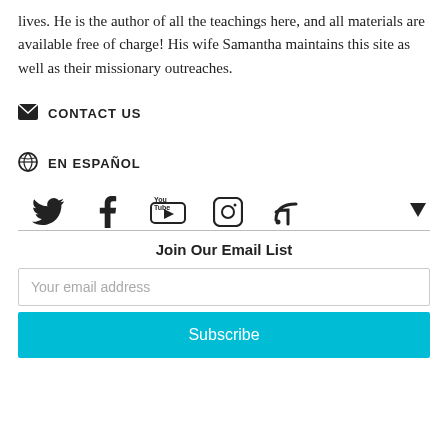lives. He is the author of all the teachings here, and all materials are available free of charge! His wife Samantha maintains this site as well as their missionary outreaches.
CONTACT US
EN ESPAÑOL
[Figure (infographic): Social media icons row: Twitter bird, Facebook f, YouTube, Instagram camera, RSS feed]
Join Our Email List
Your email address
Subscribe